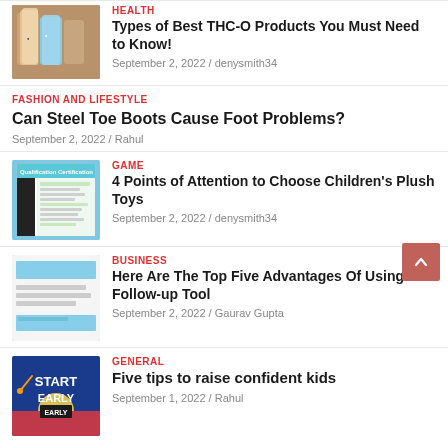[Figure (photo): THC-O products thumbnail - brown bottles]
HEALTH
Types of Best THC-O Products You Must Need to Know!
September 2, 2022 / denysmith34
FASHION AND LIFESTYLE
Can Steel Toe Boots Cause Foot Problems?
September 2, 2022 / Rahul
[Figure (photo): Qualification Certification document thumbnail]
GAME
4 Points of Attention to Choose Children's Plush Toys
September 2, 2022 / denysmith34
[Figure (photo): Business form/document thumbnail with blue header and lines]
BUSINESS
Here Are The Top Five Advantages Of Using a Follow-up Tool
September 2, 2022 / Gaurav Gupta
[Figure (photo): Start Early motivational graphic on blue background]
GENERAL
Five tips to raise confident kids
September 1, 2022 / Rahul